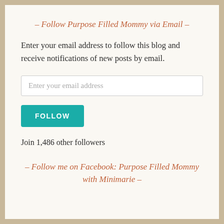– Follow Purpose Filled Mommy via Email –
Enter your email address to follow this blog and receive notifications of new posts by email.
Enter your email address
FOLLOW
Join 1,486 other followers
– Follow me on Facebook: Purpose Filled Mommy with Minimarie –